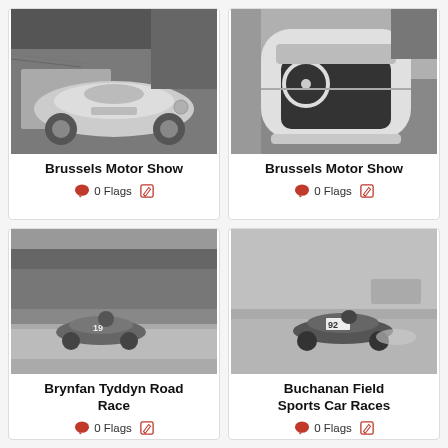[Figure (photo): Black and white photo of a Porsche 356 at Brussels Motor Show, front-quarter view in an indoor exhibition space]
Brussels Motor Show
0 Flags
[Figure (photo): Black and white photo of a car interior/top-down view at Brussels Motor Show, showing steering wheel and dashboard]
Brussels Motor Show
0 Flags
[Figure (photo): Black and white photo of car number 19 racing at Brynfan Tyddyn Road Race, on a tree-lined track]
Brynfan Tyddyn Road Race
0 Flags
[Figure (photo): Black and white photo of car number 92 racing at Buchanan Field Sports Car Races on a flat track]
Buchanan Field Sports Car Races
0 Flags